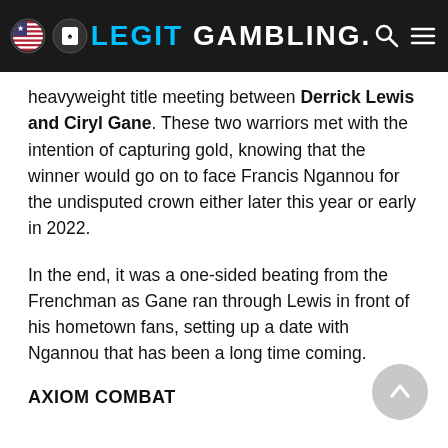LEGIT GAMBLING.
heavyweight title meeting between Derrick Lewis and Ciryl Gane. These two warriors met with the intention of capturing gold, knowing that the winner would go on to face Francis Ngannou for the undisputed crown either later this year or early in 2022.
In the end, it was a one-sided beating from the Frenchman as Gane ran through Lewis in front of his hometown fans, setting up a date with Ngannou that has been a long time coming.
AXIOM COMBAT